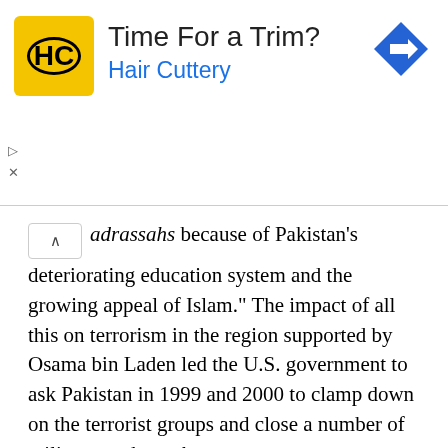[Figure (infographic): Hair Cuttery advertisement banner with yellow logo showing 'HC', heading 'Time For a Trim?', subheading 'Hair Cuttery' in blue, and a blue diamond-shaped arrow icon on the right.]
madrassahs because of Pakistan's deteriorating education system and the growing appeal of Islam." The impact of all this on terrorism in the region supported by Osama bin Laden led the U.S. government to ask Pakistan in 1999 and 2000 to clamp down on the terrorist groups and close a number of militant madrassahs.
The Modern Educational System: The modern educational system comprises the following five stages: The primary stage